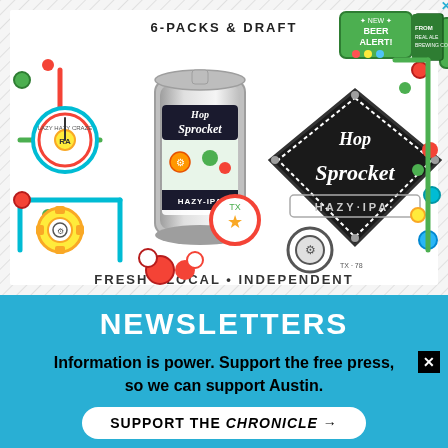[Figure (illustration): Hop Sprocket Hazy IPA advertisement from Real Ale Brewing Co. Features colorful cartoon/pixel-art machine illustration with a beer can labeled 'Hop Sprocket Hazy-IPA' and a diamond-shaped logo reading 'Hop Sprocket Hazy IPA'. Text includes '6-PACKS & DRAFT', 'NEW BEER ALERT!', 'FROM REAL ALE BREWING CO', 'FRESH • LOCAL • INDEPENDENT'.]
NEWSLETTERS
Your Email Address
Subscribe to All — One click gets you all the newsletters listed below
Chronicle Daily — Breaking news, arts coverage, and daily events
Information is power. Support the free press, so we can support Austin.
SUPPORT THE CHRONICLE →